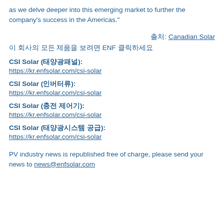as we delve deeper into this emerging market to further the company's success in the Americas."
출처: Canadian Solar
이 회사의 모든 제품을 보려면 ENF 클릭하세요
CSI Solar (태양광패널):
https://kr.enfsolar.com/csi-solar
CSI Solar (인버터류):
https://kr.enfsolar.com/csi-solar
CSI Solar (충전 제어기):
https://kr.enfsolar.com/csi-solar
CSI Solar (태양광시스템 공급):
https://kr.enfsolar.com/csi-solar
PV industry news is republished free of charge, please send your news to news@enfsolar.com